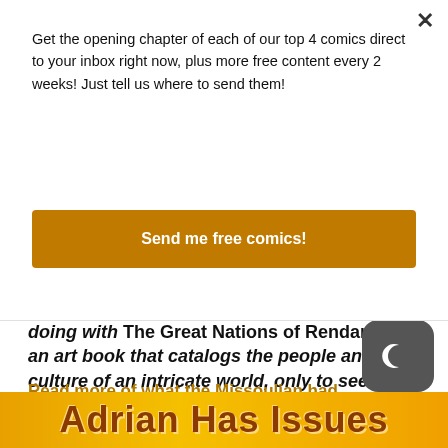Get the opening chapter of each of our top 4 comics direct to your inbox right now, plus more free content every 2 weeks! Just tell us where to send them!
Send me free comics!
doing with The Great Nations of Rendaraia, an art book that catalogs the people and culture of an intricate world, only to see its civilizations topple one by one."—Cory Walsh
Read more of what the Missoulian had to say here.
[Figure (screenshot): Orange/yellow banner at bottom with stylized text reading 'Adrian Has Issues']